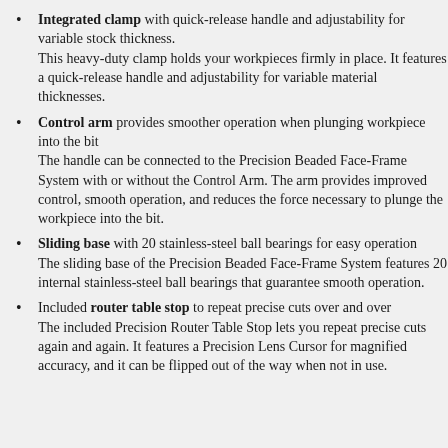Integrated clamp with quick-release handle and adjustability for variable stock thickness. This heavy-duty clamp holds your workpieces firmly in place. It features a quick-release handle and adjustability for variable material thicknesses.
Control arm provides smoother operation when plunging workpiece into the bit The handle can be connected to the Precision Beaded Face-Frame System with or without the Control Arm. The arm provides improved control, smooth operation, and reduces the force necessary to plunge the workpiece into the bit.
Sliding base with 20 stainless-steel ball bearings for easy operation The sliding base of the Precision Beaded Face-Frame System features 20 internal stainless-steel ball bearings that guarantee smooth operation.
Included router table stop to repeat precise cuts over and over The included Precision Router Table Stop lets you repeat precise cuts again and again. It features a Precision Lens Cursor for magnified accuracy, and it can be flipped out of the way when not in use.